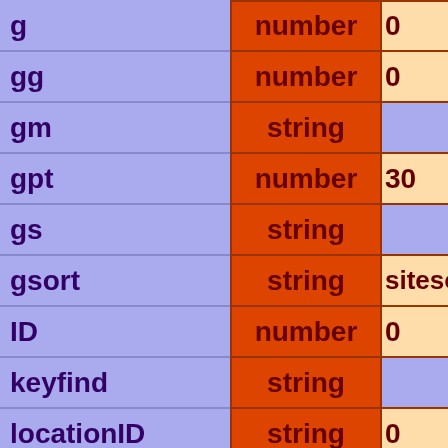| Field Name | Type | Default |
| --- | --- | --- |
| g | number | 0 |
| gg | number | 0 |
| gm | string |  |
| gpt | number | 30 |
| gs | string |  |
| gsort | string | sitesort |
| ID | number | 0 |
| keyfind | string |  |
| locationID | string | 0 |